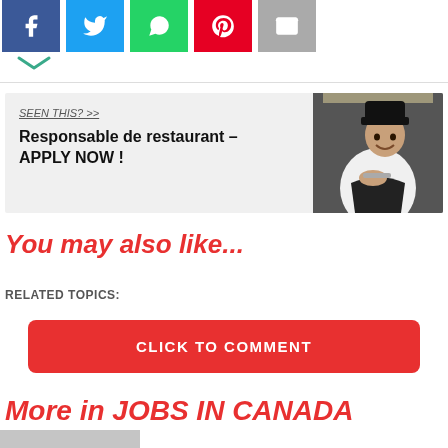[Figure (other): Social share buttons: Facebook (blue), Twitter (light blue), WhatsApp (green), Pinterest (red), Email (grey)]
[Figure (other): Advertisement box with text 'SEEN THIS? >> Responsable de restaurant - APPLY NOW !' on grey background with a photo of a chef on the right]
You may also like...
RELATED TOPICS:
CLICK TO COMMENT
More in JOBS IN CANADA